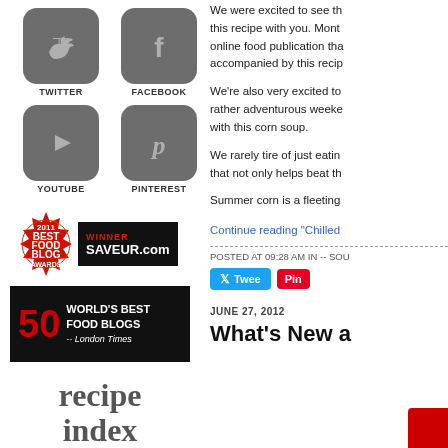[Figure (screenshot): Social media icons grid: Twitter, Facebook, YouTube, Pinterest]
[Figure (logo): 2011 Best Food Blog Awards Winner - SAVEUR.com seal badge]
[Figure (logo): 50 World's Best Food Blogs - London Times badge]
recipe index
We were excited to see this recipe with you. Monthly online food publication that accompanied by this recipe.
We're also very excited to rather adventurous weekend with this corn soup.
We rarely tire of just eating that not only helps beat the
Summer corn is a fleeting
Continue reading "Chilled
POSTED AT 09:28 AM IN -- SOU
JUNE 27, 2012
What's New a